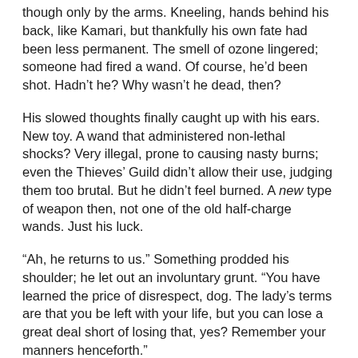though only by the arms. Kneeling, hands behind his back, like Kamari, but thankfully his own fate had been less permanent. The smell of ozone lingered; someone had fired a wand. Of course, he'd been shot. Hadn't he? Why wasn't he dead, then?
His slowed thoughts finally caught up with his ears. New toy. A wand that administered non-lethal shocks? Very illegal, prone to causing nasty burns; even the Thieves' Guild didn't allow their use, judging them too brutal. But he didn't feel burned. A new type of weapon then, not one of the old half-charge wands. Just his luck.
“Ah, he returns to us.” Something prodded his shoulder; he let out an involuntary grunt. “You have learned the price of disrespect, dog. The lady’s terms are that you be left with your life, but you can lose a great deal short of losing that, yes? Remember your manners henceforth.”